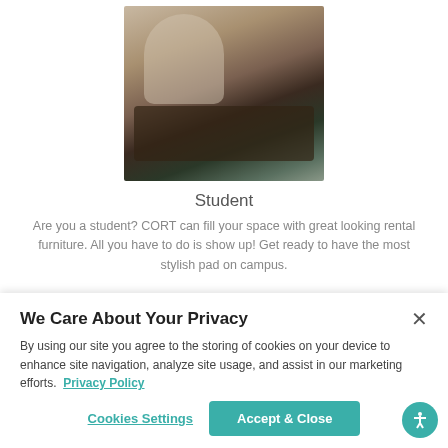[Figure (photo): Two women sitting on a couch in a furnished living room with a dark coffee table in the foreground]
Student
Are you a student? CORT can fill your space with great looking rental furniture. All you have to do is show up! Get ready to have the most stylish pad on campus.
We Care About Your Privacy
By using our site you agree to the storing of cookies on your device to enhance site navigation, analyze site usage, and assist in our marketing efforts.  Privacy Policy
Cookies Settings
Accept & Close